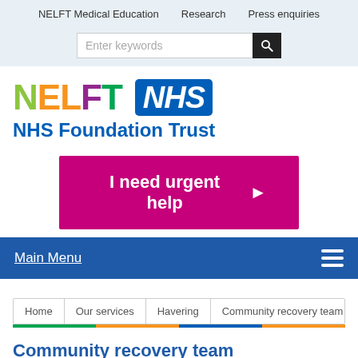NELFT Medical Education   Research   Press enquiries
[Figure (screenshot): Search bar with 'Enter keywords' placeholder and dark search button with magnifying glass icon]
[Figure (logo): NELFT NHS Foundation Trust logo — NELFT in multi-color letters and NHS in white italic on blue badge]
I need urgent help →
Main Menu
Home   Our services   Havering   Community recovery team
Community recovery team